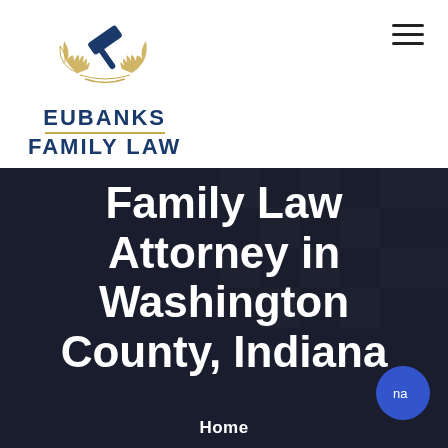[Figure (logo): Eubanks Family Law logo with gold laurel wreath and blue gavel emblem above the firm name]
EUBANKS
FAMILY LAW
[Figure (photo): Dark background image of a chess board and legal documents with dark overlay]
Family Law Attorney in Washington County, Indiana
Home